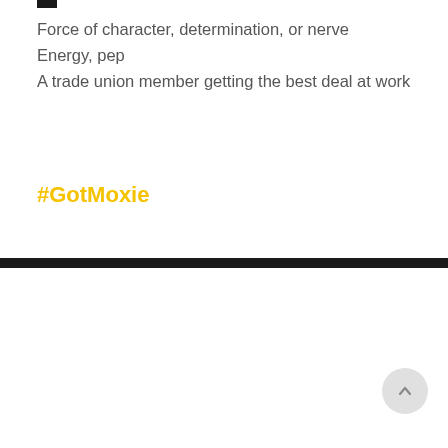Force of character, determination, or nerve
Energy, pep
A trade union member getting the best deal at work
#GotMoxie